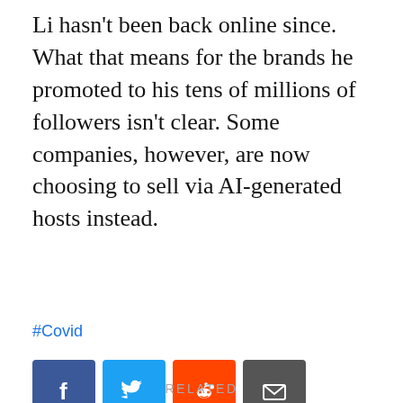Li hasn't been back online since. What that means for the brands he promoted to his tens of millions of followers isn't clear. Some companies, however, are now choosing to sell via AI-generated hosts instead.
#Covid
[Figure (other): Social sharing buttons: Facebook (blue), Twitter (light blue), Reddit (orange), Email (grey)]
NEWSLETTER
email@address.com
Subscribe
RELATED